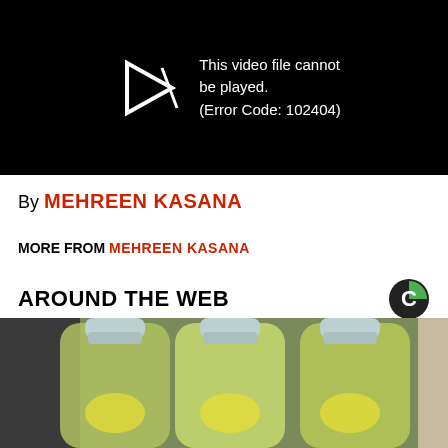[Figure (screenshot): Black video player area showing error message with a play button icon on the left and text: 'This video file cannot be played. (Error Code: 102404)']
By MEHREEN KASANA
MORE FROM MEHREEN KASANA
AROUND THE WEB
[Figure (photo): Three clear plastic bottles with green and yellow liquid (possibly infused water with lemon and cucumber) photographed from above at an angle]